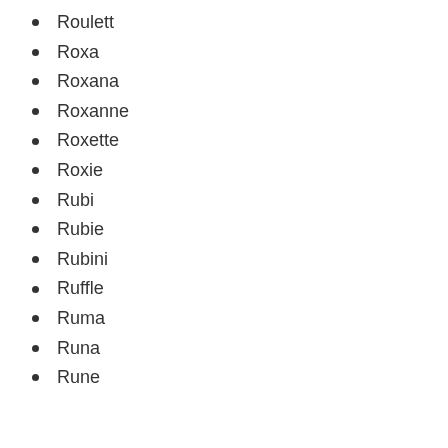Roulett
Roxa
Roxana
Roxanne
Roxette
Roxie
Rubi
Rubie
Rubini
Ruffle
Ruma
Runa
Rune